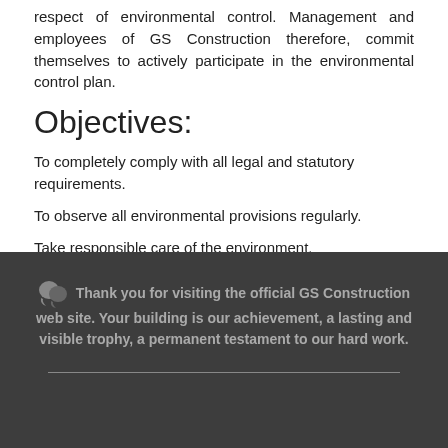respect of environmental control. Management and employees of GS Construction therefore, commit themselves to actively participate in the environmental control plan.
Objectives:
To completely comply with all legal and statutory requirements.
To observe all environmental provisions regularly.
Take responsible care of the environment.
Do nothing liable to cause damage to the environment.
Thank you for visiting the official GS Construction web site. Your building is our achievement, a lasting and visible trophy, a permanent testament to our hard work.